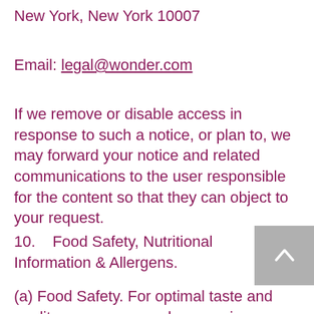New York, New York 10007
Email: legal@wonder.com
If we remove or disable access in response to such a notice, or plan to, we may forward your notice and related communications to the user responsible for the content so that they can object to your request.
10.    Food Safety, Nutritional Information & Allergens.
(a) Food Safety. For optimal taste and quality, we recommend consuming your